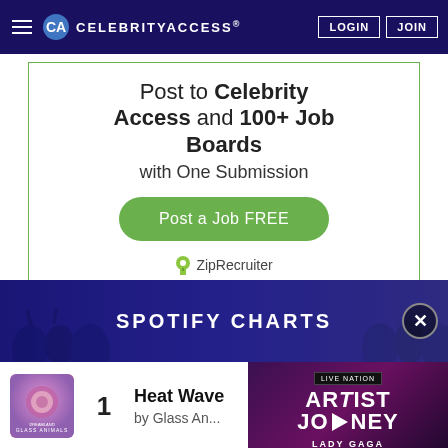CelebrityAccess LOGIN JOIN
Post to Celebrity Access and 100+ Job Boards with One Submission
Post a Job FREE
ZipRecruiter
SPOTIFY CHARTS
1 Heat Wave by Glass An...
[Figure (screenshot): Live Nation Artist Journey Lady Gaga video overlay]